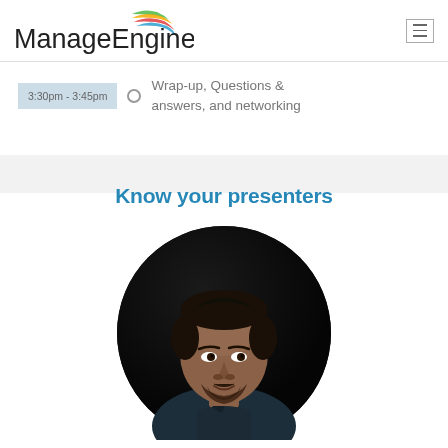ManageEngine
3:30pm - 3:45pm  Wrap-up, Questions & answers, and networking
Know your presenters
[Figure (photo): Circular portrait photo of a male presenter against a dark background, wearing a dark shirt.]